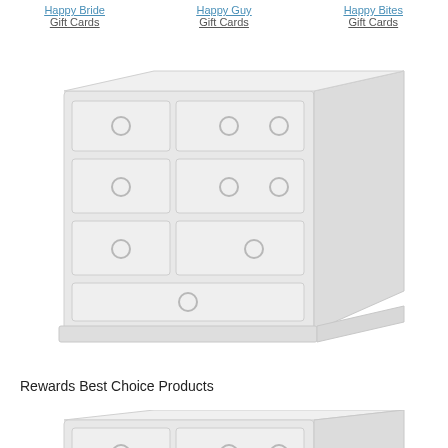Happy Bride Gift Cards
Happy Guy Gift Cards
Happy Bites Gift Cards
[Figure (photo): A white wooden dresser with multiple drawers and round ring handles, shown at an angle on a white background. The dresser has rows of drawers on the left side and a large panel door on the right.]
Rewards Best Choice Products
[Figure (photo): Partial view of a similar white wooden dresser, cropped at the bottom of the page, showing the top portion with drawers and ring handles.]